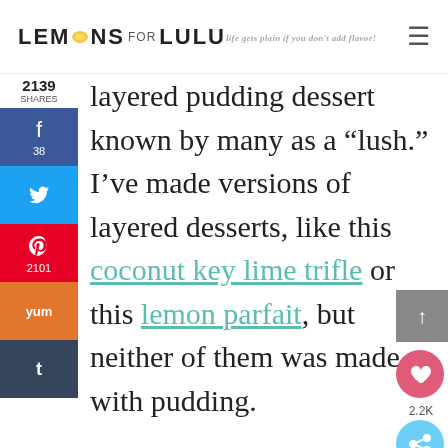LEMONS FOR LULU — life gets plain if you don't add flavor!
layered pudding dessert known by many as a "lush." I've made versions of layered desserts, like this coconut key lime trifle or this lemon parfait, but neither of them was made with pudding.

See, I've always had a thing against pudding. I ate a lot of pudding growing up, by the time I started cooking and baking for myself I made a vow to never serve it again.